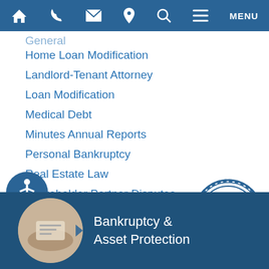Home | Phone | Mail | Location | Search | MENU
General (partial)
Home Loan Modification
Landlord-Tenant Attorney
Loan Modification
Medical Debt
Minutes Annual Reports
Personal Bankruptcy
Real Estate Law
Shareholder Partner Disputes
Student Loans
Taxes and Bankruptcy
Wage Garnishment
[Figure (logo): 21st Anniversary badge/seal in blue and white]
[Figure (illustration): Accessibility wheelchair icon in white on blue circle]
Bankruptcy & Asset Protection